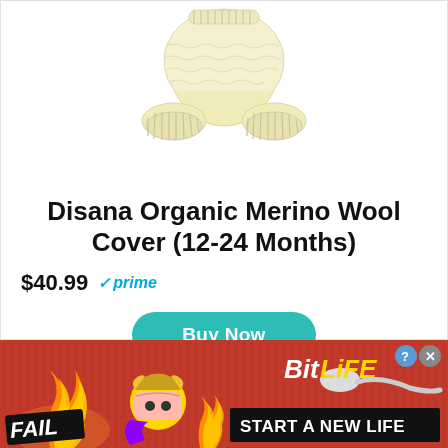[Figure (photo): Cream/off-white knitted merino wool diaper cover with ribbed cuffs at legs and waist, shown from front on white background]
Disana Organic Merino Wool Cover (12-24 Months)
$40.99 ✓prime
[Figure (other): Teal rounded rectangle Buy Now button]
[Figure (infographic): BitLife game advertisement banner with red/orange background, FAIL label, emoji characters, flame graphics, sperm cell graphic, BitLife logo, and START A NEW LIFE text]